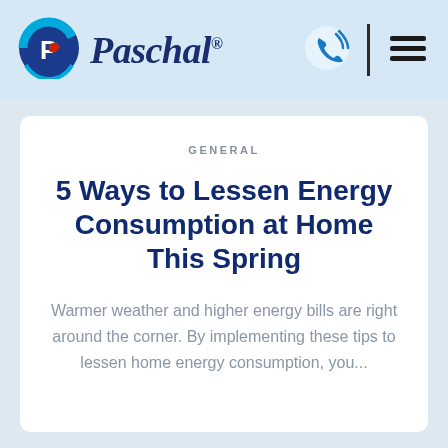[Figure (logo): Paschal company logo with circular icon featuring P letter in blue and red, and Paschal script text]
[Figure (illustration): Phone/call icon in blue]
[Figure (illustration): Hamburger menu icon with three horizontal lines]
GENERAL
5 Ways to Lessen Energy Consumption at Home This Spring
Warmer weather and higher energy bills are right around the corner. By implementing these tips to lessen home energy consumption, you...